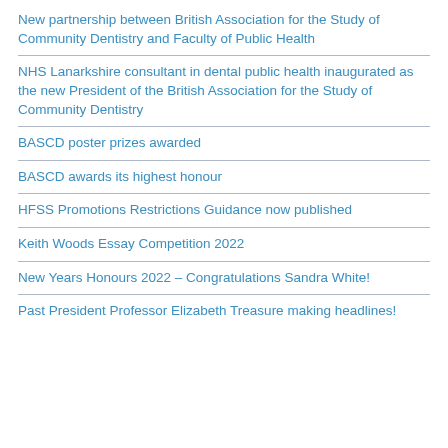New partnership between British Association for the Study of Community Dentistry and Faculty of Public Health
NHS Lanarkshire consultant in dental public health inaugurated as the new President of the British Association for the Study of Community Dentistry
BASCD poster prizes awarded
BASCD awards its highest honour
HFSS Promotions Restrictions Guidance now published
Keith Woods Essay Competition 2022
New Years Honours 2022 – Congratulations Sandra White!
Past President Professor Elizabeth Treasure making headlines!